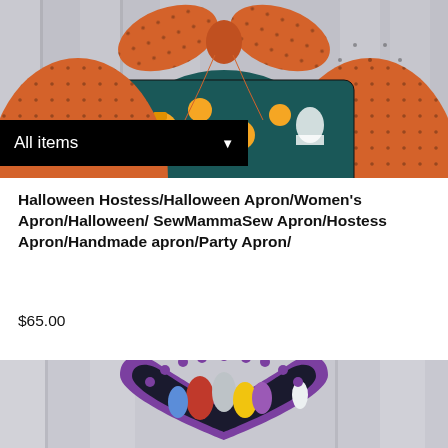[Figure (photo): Halloween hostess apron displayed hanging, showing orange polka-dot fabric with Halloween-themed teal fabric inset and an orange bow at the top. A black 'All items' dropdown bar overlays the lower portion of the image.]
Halloween Hostess/Halloween Apron/Women's Apron/Halloween/ SewMammaSew Apron/Hostess Apron/Handmade apron/Party Apron/
$65.00
[Figure (photo): Partially visible image of a heart-shaped pillow or applique featuring Nightmare Before Christmas characters on a dark background with purple scalloped border.]